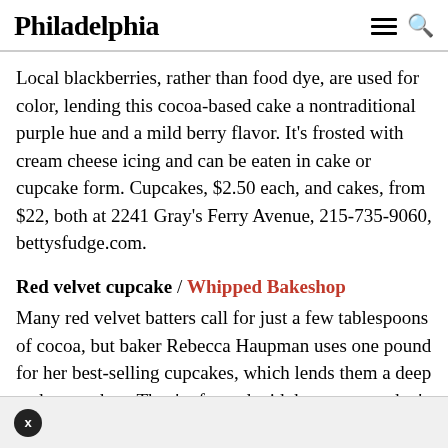Philadelphia
Local blackberries, rather than food dye, are used for color, lending this cocoa-based cake a nontraditional purple hue and a mild berry flavor. It's frosted with cream cheese icing and can be eaten in cake or cupcake form. Cupcakes, $2.50 each, and cakes, from $22, both at 2241 Gray's Ferry Avenue, 215-735-9060, bettysfudge.com.
Red velvet cupcake / Whipped Bakeshop
Many red velvet batters call for just a few tablespoons of cocoa, but baker Rebecca Haupman uses one pound for her best-selling cupcakes, which lends them a deep mahogany hue. They're frosted with buttercream that's amped up with cream cheese. $2.75 each at 636 Belgrade Street, 215-598-5449, whippedbakeshop.com.